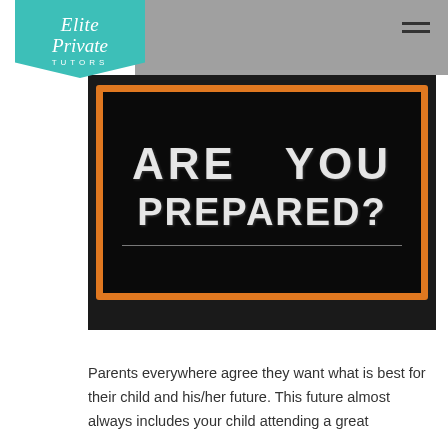[Figure (logo): Elite Private Tutors logo — teal pentagon badge with italic white serif text]
[Figure (photo): Black chalkboard with orange frame reading 'ARE YOU PREPARED?' in white chalk lettering]
Parents everywhere agree they want what is best for their child and his/her future. This future almost always includes your child attending a great